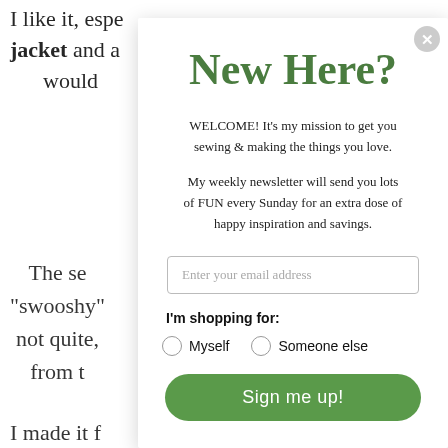I like it, espe... jacket and a... would
New Here?
WELCOME! It's my mission to get you sewing & making the things you love.
My weekly newsletter will send you lots of FUN every Sunday for an extra dose of happy inspiration and savings.
Enter your email address
I'm shopping for:
Myself
Someone else
Sign me up!
The se... "swooshy"... not quite,... from...
I made it f...